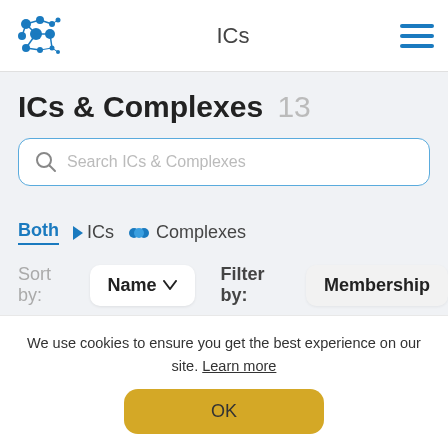ICs
ICs & Complexes 13
Search ICs & Complexes
Both  ICs  Complexes
Sort by: Name  Filter by: Membership
We use cookies to ensure you get the best experience on our site. Learn more
OK